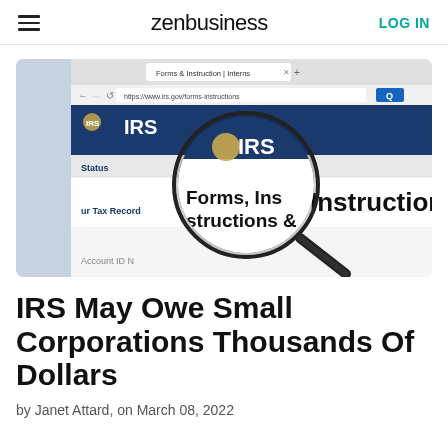zenbusiness | LOG IN
[Figure (photo): Screenshot of the IRS website (irs.gov/forms-instructions) viewed through a magnifying glass, showing the IRS logo and 'Forms, Instructions &' text. Background shows an American flag. The browser tab and URL bar are visible at the top.]
IRS May Owe Small Corporations Thousands Of Dollars
by Janet Attard, on March 08, 2022